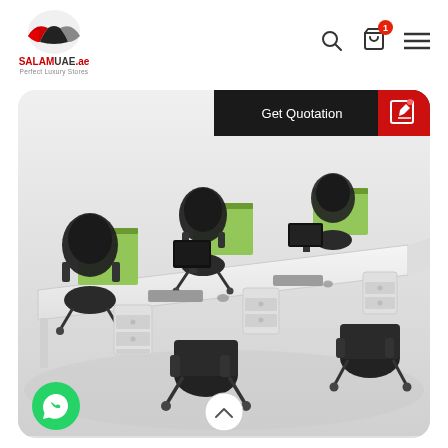[Figure (logo): SALAMUAE.ae logo with handshake icon and text 'Perfect Luxury Stores']
[Figure (photo): Office workstation setup with white desks, green divider panels, black mesh chairs and under-desk pedestals. 'Get Quotation' button overlay in top right with black and red sections. WhatsApp button bottom left, scroll-to-top button bottom center.]